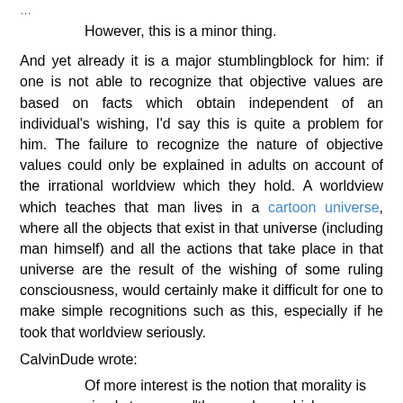...truncated header text...
However, this is a minor thing.
And yet already it is a major stumblingblock for him: if one is not able to recognize that objective values are based on facts which obtain independent of an individual's wishing, I'd say this is quite a problem for him. The failure to recognize the nature of objective values could only be explained in adults on account of the irrational worldview which they hold. A worldview which teaches that man lives in a cartoon universe, where all the objects that exist in that universe (including man himself) and all the actions that take place in that universe are the result of the wishing of some ruling consciousness, would certainly make it difficult for one to make simple recognitions such as this, especially if he took that worldview seriously.
CalvinDude wrote:
Of more interest is the notion that morality is simply to secure "those values which an individaul needs in order to live."